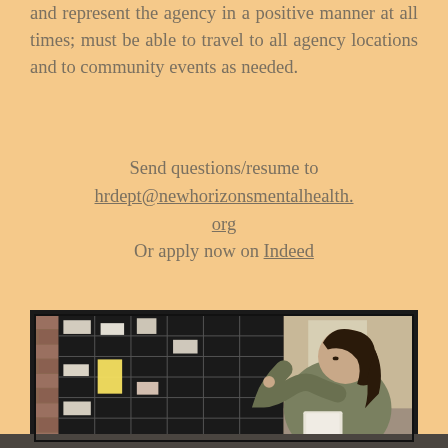and represent the agency in a positive manner at all times; must be able to travel to all agency locations and to community events as needed.
Send questions/resume to hrdept@newhorizonsmentalhealth.org Or apply now on Indeed
[Figure (photo): A woman with dark hair wearing a green/olive shirt, standing in front of a large black grid calendar/planning board on a brick wall, placing or reading a note. She holds papers. Office environment visible in background.]